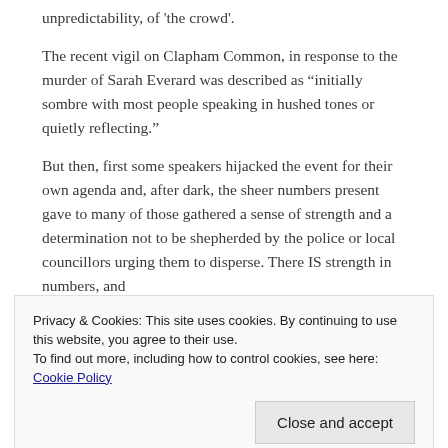unpredictability, of 'the crowd'.
The recent vigil on Clapham Common, in response to the murder of Sarah Everard was described as “initially sombre with most people speaking in hushed tones or quietly reflecting.”
But then, first some speakers hijacked the event for their own agenda and, after dark, the sheer numbers present gave to many of those gathered a sense of strength and a determination not to be shepherded by the police or local councillors urging them to disperse. There IS strength in numbers, and
Privacy & Cookies: This site uses cookies. By continuing to use this website, you agree to their use. To find out more, including how to control cookies, see here: Cookie Policy
Close and accept